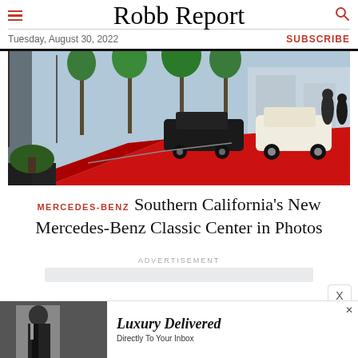Robb Report
Tuesday, August 30, 2022
SUBSCRIBE
[Figure (photo): Outdoor red carpet event with classic Mercedes-Benz cars lined up, palm trees in background, sunny day at what appears to be the Mercedes-Benz Classic Center in Southern California]
MERCEDES-BENZ Southern California's New Mercedes-Benz Classic Center in Photos
ADVERTISEMENT
[Figure (photo): Bottom advertisement banner showing a black-and-white photo of a man and text 'Luxury Delivered Directly To Your Inbox']